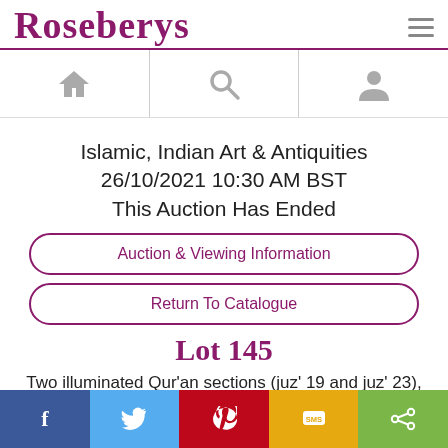ROSEBERYS
[Figure (infographic): Navigation icon row with home, search, and user profile icons]
Islamic, Indian Art & Antiquities
26/10/2021 10:30 AM BST
This Auction Has Ended
Auction & Viewing Information
Return To Catalogue
Lot 145
Two illuminated Qur'an sections (juz' 19 and juz' 23), China, 18th century or later, text: [juz'19] surah al-…
[Figure (infographic): Social sharing bar with Facebook, Twitter, Pinterest, SMS, and share buttons]